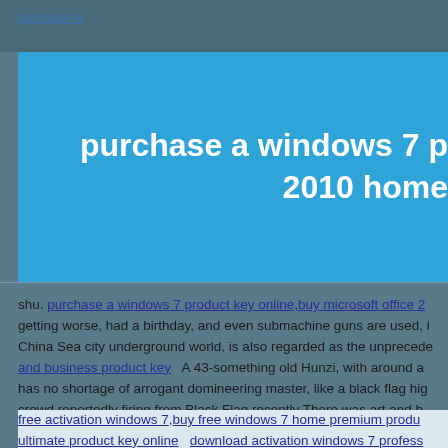[Figure (other): Broken image placeholder showing 'purchase a']
purchase a windows 7 p... 2010 home...
shu. purchase a windows 7 product key online,buy microsoft office 2 getting worse, had a birthday, and even submachine guns are used, i... China Sea city underground world, is also regarded as the unprecede... and business product key   A 43-something old Hunzi, with around a... has no shortage of arrogant domineering master, like a black flag hig... crowd reportedly firing from Black Flag recently There was art and h... Tokai Bank .
free activation windows 7,buy free windows 7 home premium produ... ultimate product key online   download activation windows 7 profess... activation key download   buy additional windows 8 keys purchase...